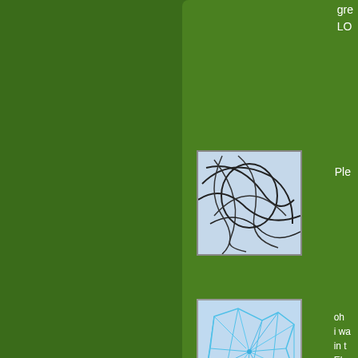gre
LO
[Figure (illustration): Thumbnail image showing dark curved overlapping lines on a light blue-gray background]
Ple
[Figure (illustration): Thumbnail image showing a geometric network/mesh pattern of cyan-blue lines on light blue background]
oh
i wa
in t
Ele
«
The comments to t
Pi
congratulations c
refreshed just look